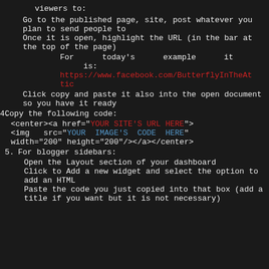viewers to:
Go to the published page, site, post whatever you plan to send people to
Once it is open, highlight the URL (in the bar at the top of the page)
For today's example it is: https://www.facebook.com/ButterflyInTheAttic
Click copy and paste it also into the open document so you have it ready
Copy the following code:
<center><a href="YOUR SITE'S URL HERE"><img src="YOUR IMAGE'S CODE HERE" width="200" height="200"/></a></center>
For blogger sidebars:
Open the Layout section of your dashboard
Click to Add a new widget and select the option to add an HTML
Paste the code you just copied into that box (add a title if you want but it is not necessary)